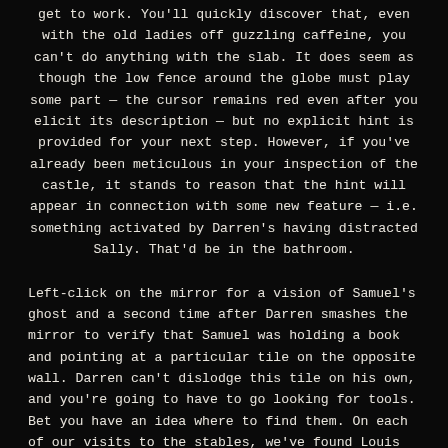get to work. You'll quickly discover that, even with the old ladies off guzzling caffeine, you can't do anything with the slab. It does seem as though the low fence around the globe must play some part — the cursor remains red even after you elicit its description — but no explicit hint is provided for your next step. However, if you've already been meticulous in your inspection of the castle, it stands to reason that the hint will appear in connection with some new feature — i.e. something activated by Darren's having distracted Sally. That'd be in the bathroom.
Left-click on the mirror for a vision of Samuel's ghost and a second time after Darren smashes the mirror to verify that Samuel was holding a book and pointing at a particular tile on the opposite wall. Darren can't dislodge this tile on his own, and you're going to have to go looking for tools. Bet you have an idea where to find them. On each of our visits to the stables, we've found Louis working under the car — presumably not entirely with his bare hands. Sure enough, just right of the rear of the car (and almost invisible in the rain) is a toolbox. Inspect it and Darren grabs a hammer. Use